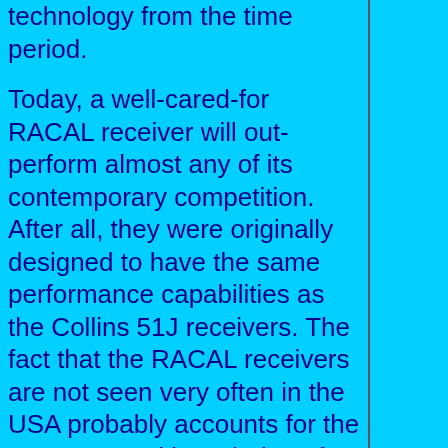technology from the time period.
Today, a well-cared-for RACAL receiver will out-perform almost any of its contemporary competition. After all, they were originally designed to have the same performance capabilities as the Collins 51J receivers. The fact that the RACAL receivers are not seen very often in the USA probably accounts for the scant general knowledge of how these receivers worked and how well they received just